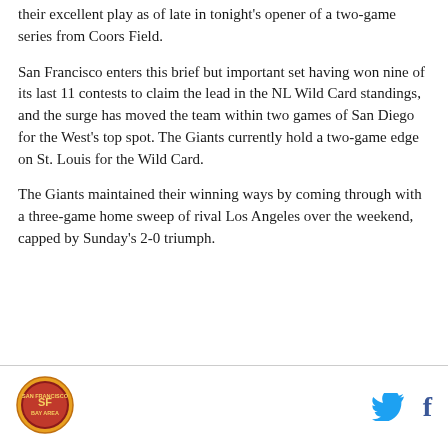their excellent play as of late in tonight's opener of a two-game series from Coors Field.
San Francisco enters this brief but important set having won nine of its last 11 contests to claim the lead in the NL Wild Card standings, and the surge has moved the team within two games of San Diego for the West's top spot. The Giants currently hold a two-game edge on St. Louis for the Wild Card.
The Giants maintained their winning ways by coming through with a three-game home sweep of rival Los Angeles over the weekend, capped by Sunday's 2-0 triumph.
[Figure (logo): San Francisco Bay Area sports logo — circular badge with text]